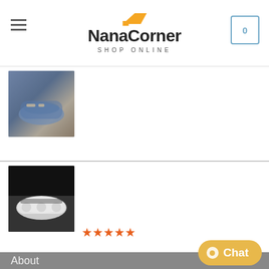NanaCorner SHOP ONLINE
[Figure (photo): Product thumbnail of Women Denim Shoes Patchwork Walking Shoes]
Women Denim Shoes Patchwork Walking Shoes Brand Trend Lovely Girls Canvas Thick Heel Sneakers Designer Running Platform New
$50.49 – $58.37
[Figure (photo): Product thumbnail of Women Sneakers White Black Designer Shoes]
Women Sneakers White Black Designer Shoes Woman Autumn Winter Chunky Sneakers Fashion Light Dad Shoes Ladies Platform Footwear
★★★★★
$62.25 – $62.28
About
Blog
Contact